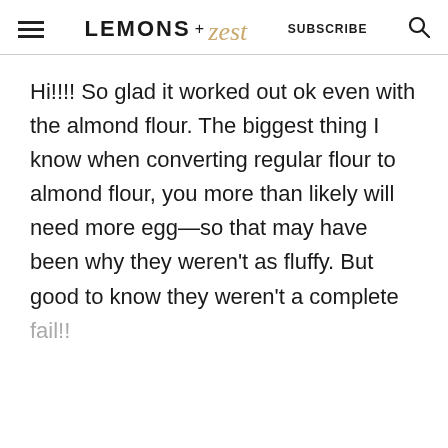LEMONS + zest  SUBSCRIBE
Hi!!!! So glad it worked out ok even with the almond flour. The biggest thing I know when converting regular flour to almond flour, you more than likely will need more egg—so that may have been why they weren't as fluffy. But good to know they weren't a complete fail!!